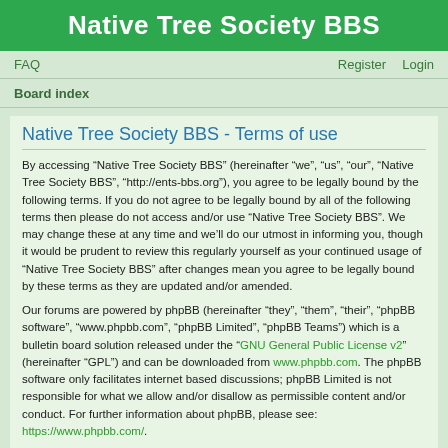Native Tree Society BBS
FAQ   Register   Login
Board index
Native Tree Society BBS - Terms of use
By accessing “Native Tree Society BBS” (hereinafter “we”, “us”, “our”, “Native Tree Society BBS”, “http://ents-bbs.org”), you agree to be legally bound by the following terms. If you do not agree to be legally bound by all of the following terms then please do not access and/or use “Native Tree Society BBS”. We may change these at any time and we’ll do our utmost in informing you, though it would be prudent to review this regularly yourself as your continued usage of “Native Tree Society BBS” after changes mean you agree to be legally bound by these terms as they are updated and/or amended.
Our forums are powered by phpBB (hereinafter “they”, “them”, “their”, “phpBB software”, “www.phpbb.com”, “phpBB Limited”, “phpBB Teams”) which is a bulletin board solution released under the “GNU General Public License v2” (hereinafter “GPL”) and can be downloaded from www.phpbb.com. The phpBB software only facilitates internet based discussions; phpBB Limited is not responsible for what we allow and/or disallow as permissible content and/or conduct. For further information about phpBB, please see: https://www.phpbb.com/.